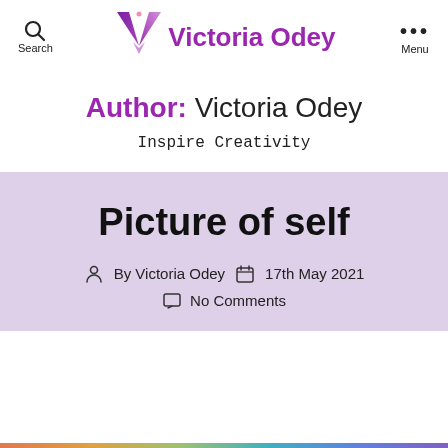Search  Victoria Odey  Menu
Author: Victoria Odey
Inspire Creativity
Picture of self
By Victoria Odey  17th May 2021  No Comments